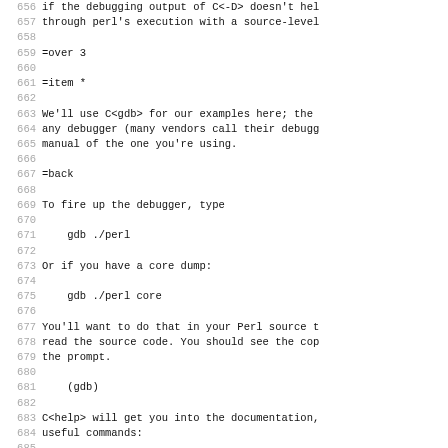656 if the debugging output of C<-D> doesn't hel
657 through perl's execution with a source-level
658
659 =over 3
660
661 =item *
662
663 We'll use C<gdb> for our examples here; the
664 any debugger (many vendors call their debugg
665 manual of the one you're using.
666
667 =back
668
669 To fire up the debugger, type
670
671     gdb ./perl
672
673 Or if you have a core dump:
674
675     gdb ./perl core
676
677 You'll want to do that in your Perl source t
678 read the source code. You should see the cop
679 the prompt.
680
681     (gdb)
682
683 C<help> will get you into the documentation,
684 useful commands:
685
686 =over 3
687
688 =item * [...]